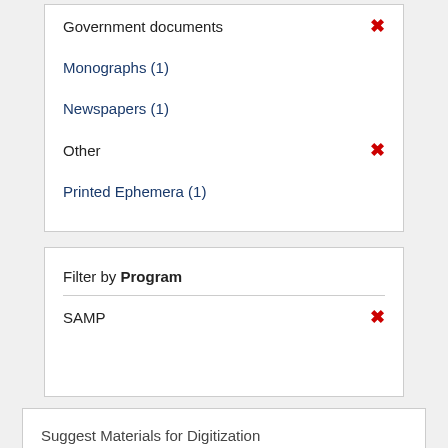Government documents ✕
Monographs (1)
Newspapers (1)
Other ✕
Printed Ephemera (1)
Filter by Program
SAMP ✕
Suggest Materials for Digitization
Community members are invited to suggest new candidates for inclusion